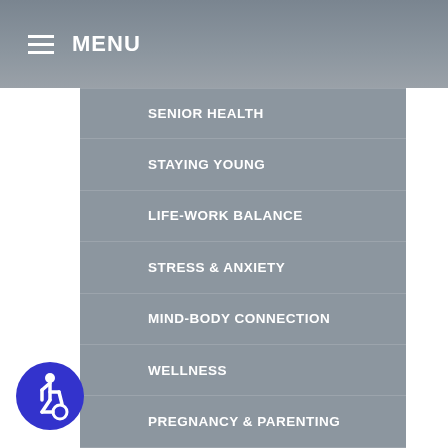MENU
SENIOR HEALTH
STAYING YOUNG
LIFE-WORK BALANCE
STRESS & ANXIETY
MIND-BODY CONNECTION
WELLNESS
PREGNANCY & PARENTING
WEIGHT LOSS
[Figure (illustration): Accessibility icon - blue circle with white wheelchair user symbol]